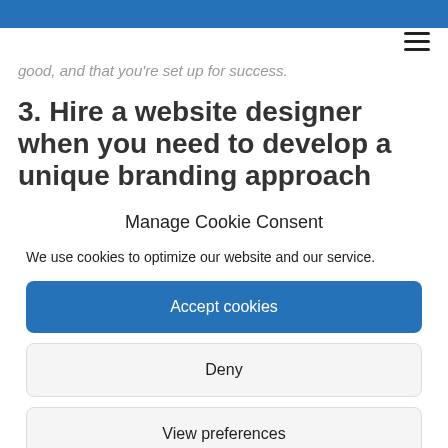good, and that you're set up for success.
3. Hire a website designer when you need to develop a unique branding approach
Manage Cookie Consent
We use cookies to optimize our website and our service.
Accept cookies
Deny
View preferences